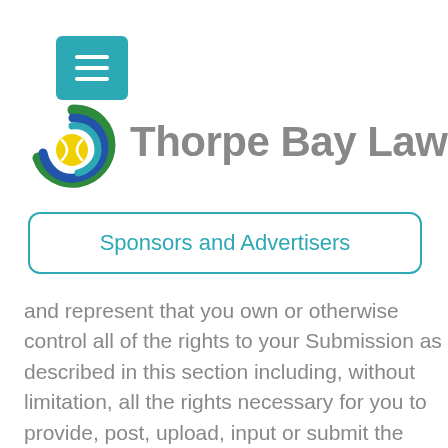[Figure (logo): Thorpe Bay Lawn Tennis Club logo with green, blue, and yellow swirl design, and menu hamburger button in teal]
Thorpe Bay Law
Sponsors and Advertisers
and represent that you own or otherwise control all of the rights to your Submission as described in this section including, without limitation, all the rights necessary for you to provide, post, upload, input or submit the Submissions.
LIABILITY DISCLAIMER
THE INFORMATION, SOFTWARE, PRODUCTS